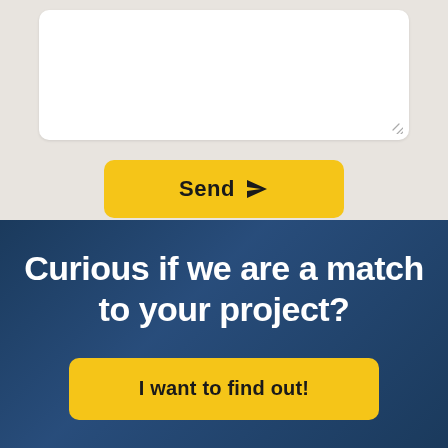[Figure (screenshot): White textarea input box with resize handle in bottom-right corner, on a beige/light gray background]
[Figure (other): Yellow 'Send' button with paper plane icon]
Curious if we are a match to your project?
[Figure (other): Yellow 'I want to find out!' call-to-action button on dark navy blue background]